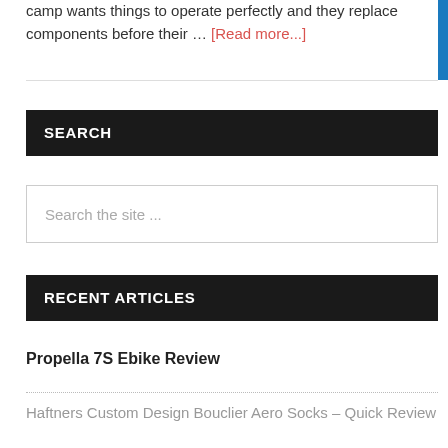camp wants things to operate perfectly and they replace components before their … [Read more...]
SEARCH
Search the site ...
RECENT ARTICLES
Propella 7S Ebike Review
Haftners Custom Design Bouclier Aero Socks – Quick Review